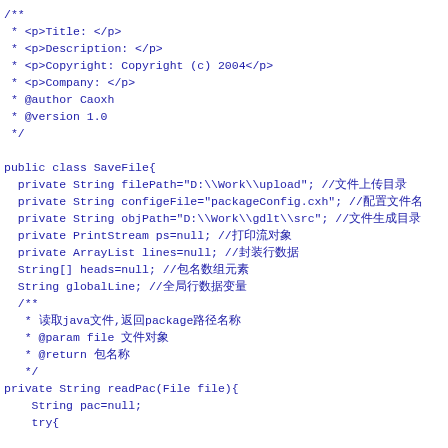/**
 * <p>Title: </p>
 * <p>Description: </p>
 * <p>Copyright: Copyright (c) 2004</p>
 * <p>Company: </p>
 * @author Caoxh
 * @version 1.0
 */

public class SaveFile{
  private String filePath="D:\\Work\\upload"; //文件上传目录
  private String configeFile="packageConfig.cxh"; //配置文件名
  private String objPath="D:\\Work\\gdlt\\src"; //文件生成目录
  private PrintStream ps=null; //打印流对象
  private ArrayList lines=null; //封装行数据
  String[] heads=null; //包名数组元素
  String globalLine; //全局行数据变量
  /**
   * 读取java文件,返回package路径名称
   * @param file 文件对象
   * @return 包名称
   */
private String readPac(File file){
    String pac=null;
    try{